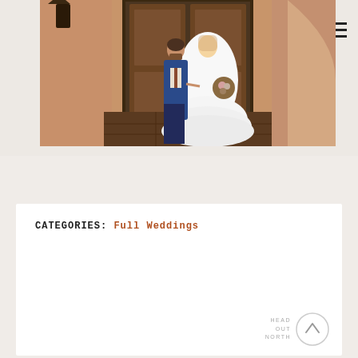[Figure (photo): Wedding photo of a bride in a white layered gown and groom in a blue suit walking through an archway with large wooden doors, set against a warm terracotta-colored wall.]
CATEGORIES: Full Weddings